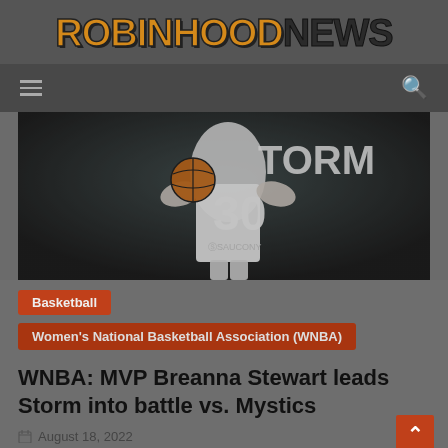ROBINHOODNE WS
[Figure (screenshot): Navigation bar with hamburger menu icon on left and search icon on right, dark gray background]
[Figure (photo): Basketball player wearing Seattle Storm jersey number 30 holding a basketball, dark arena background]
Basketball
Women's National Basketball Association (WNBA)
WNBA: MVP Breanna Stewart leads Storm into battle vs. Mystics
August 18, 2022